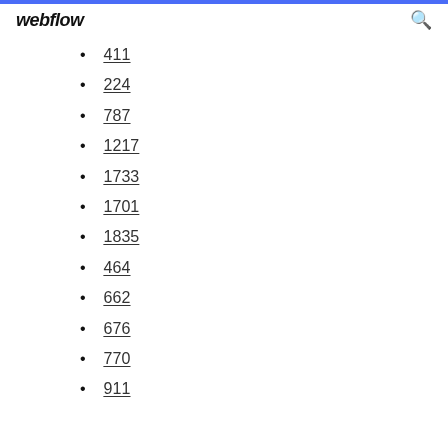webflow
411
224
787
1217
1733
1701
1835
464
662
676
770
911